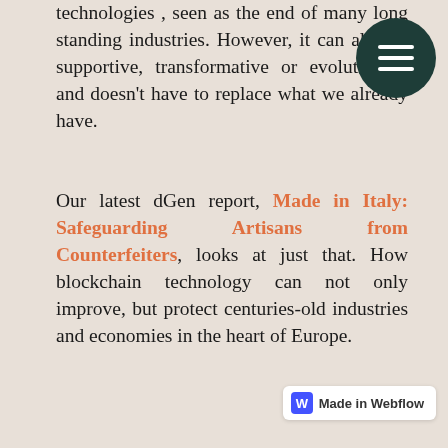technologies , seen as the end of many long standing industries. However, it can also be supportive, transformative or evolutionary and doesn't have to replace what we already have.
Our latest dGen report, Made in Italy: Safeguarding Artisans from Counterfeiters, looks at just that. How blockchain technology can not only improve, but protect centuries-old industries and economies in the heart of Europe.
Especially at this time, in the midst of the Covid-19 pandemic, Italy has been at the forefront of many people's minds. Our hearts go out to all of those impacted by this crisis.
Northern Italy caught our eye, as it has many others, though, before this for its position at the centre of luxury fashion. This